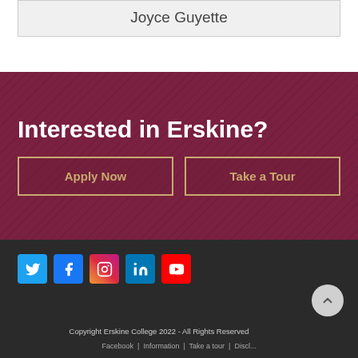Joyce Guyette
Interested in Erskine?
Apply Now
Take a Tour
[Figure (other): Social media icons: Twitter, Facebook, Instagram, LinkedIn, YouTube]
Copyright Erskine College 2022 - All Rights Reserved
Facebook | Information | Take a tour | Discl...